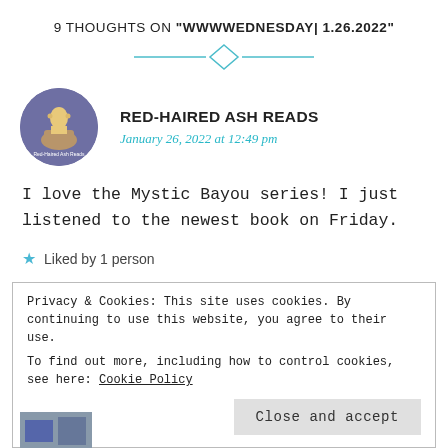9 THOUGHTS ON "WWWWEDNESDAY| 1.26.2022"
[Figure (illustration): Decorative horizontal divider with a diamond/rhombus shape in the center, teal/cyan colored lines on each side]
RED-HAIRED ASH READS
January 26, 2022 at 12:49 pm
I love the Mystic Bayou series! I just listened to the newest book on Friday.
Liked by 1 person
Privacy & Cookies: This site uses cookies. By continuing to use this website, you agree to their use.
To find out more, including how to control cookies, see here: Cookie Policy
Close and accept